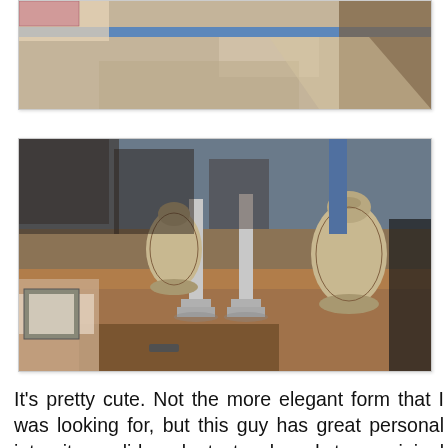[Figure (photo): Partial view of antique furniture in a shop, showing a wooden floor with blue tape and the bottom portion of a piece of furniture.]
[Figure (photo): Antique shop table with silver candlesticks and decorative vases displayed on a walnut wooden table with drawers, surrounded by other antique furniture.]
It's pretty cute. Not the more elegant form that I was looking for, but this guy has great personal integrity: solid walnut, two-board top, original back and old